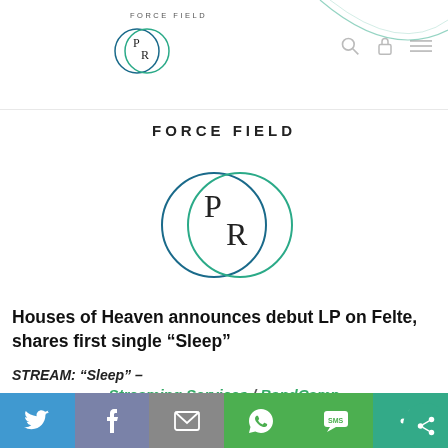FORCE FIELD
[Figure (logo): Force Field PR logo — two overlapping circles (teal and dark blue) with stylized PR letters inside, small version in nav bar]
FORCE FIELD
[Figure (logo): Force Field PR logo — two overlapping circles (teal and dark blue) with stylized PR letters inside, large version]
Houses of Heaven announces debut LP on Felte, shares first single “Sleep”
STREAM: “Sleep” –
Streaming Services / BandCamp
[Figure (screenshot): Partial image of music/album artwork at the bottom of the page]
[Figure (infographic): Social sharing bar with Twitter, Facebook, Email, WhatsApp, SMS, and More buttons]